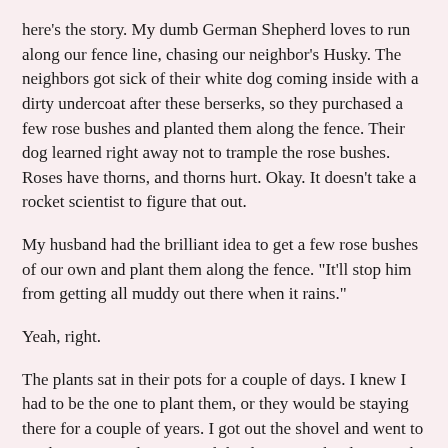here's the story.  My dumb German Shepherd loves to run along our fence line, chasing our neighbor's Husky.  The neighbors got sick of their white dog coming inside with a dirty undercoat after these berserks, so they purchased a few rose bushes and planted them along the fence.  Their dog learned right away not to trample the rose bushes.  Roses have thorns, and thorns hurt.  Okay.  It doesn't take a rocket scientist to figure that out.
My husband had the brilliant idea to get a few rose bushes of our own and plant them along the fence.  "It'll stop him from getting all muddy out there when it rains."
Yeah, right.
The plants sat in their pots for a couple of days.  I knew I had to be the one to plant them, or they would be staying there for a couple of years.  I got out the shovel and went to work.  It was 89 degrees, and the dirt was as hard as a rock.  (This was in the evening - the cool part of the day.)
There I was, sweating away.  Then my daughter let the dog out.  What was she thinking?  Duffus charged straight at me and my